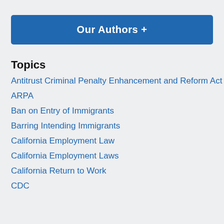Our Authors +
Topics
Antitrust Criminal Penalty Enhancement and Reform Act
ARPA
Ban on Entry of Immigrants
Barring Intending Immigrants
California Employment Law
California Employment Laws
California Return to Work
CDC